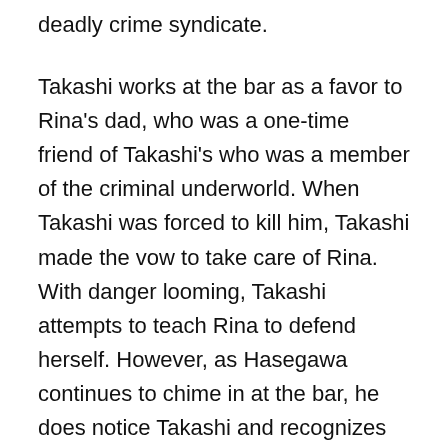deadly crime syndicate.
Takashi works at the bar as a favor to Rina's dad, who was a one-time friend of Takashi's who was a member of the criminal underworld. When Takashi was forced to kill him, Takashi made the vow to take care of Rina. With danger looming, Takashi attempts to teach Rina to defend herself. However, as Hasegawa continues to chime in at the bar, he does notice Takashi and recognizes him. To make matters worse, the organization has sent in a successor for Takashi, who plans to leave the organization but is assigned to take on one more job before retiring. However, when Rina finds herself kidnapped, Takashi is willing to go to great lengths to ensure her safety.